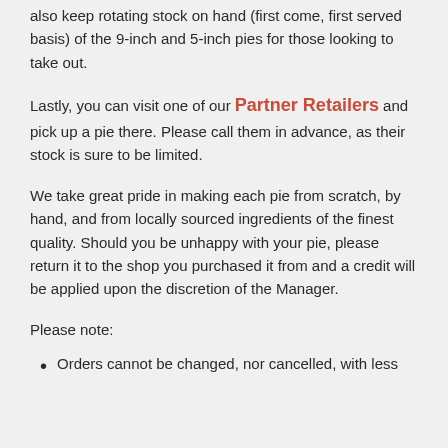also keep rotating stock on hand (first come, first served basis) of the 9-inch and 5-inch pies for those looking to take out.
Lastly, you can visit one of our Partner Retailers and pick up a pie there. Please call them in advance, as their stock is sure to be limited.
We take great pride in making each pie from scratch, by hand, and from locally sourced ingredients of the finest quality. Should you be unhappy with your pie, please return it to the shop you purchased it from and a credit will be applied upon the discretion of the Manager.
Please note:
Orders cannot be changed, nor cancelled, with less